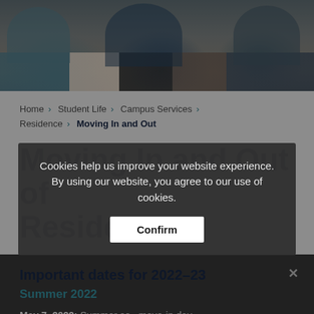[Figure (photo): Banner photo of students sitting together, partially visible from waist down]
Home > Student Life > Campus Services > Residence > Moving In and Out
Moving In and Out of Residence
Important dates for 2022-23
Summer 2022
May 7, 2022: Summer semester move-in day
August 20, 2022: Summer semester move-out day
Cookies help us improve your website experience. By using our website, you agree to our use of cookies.
Confirm